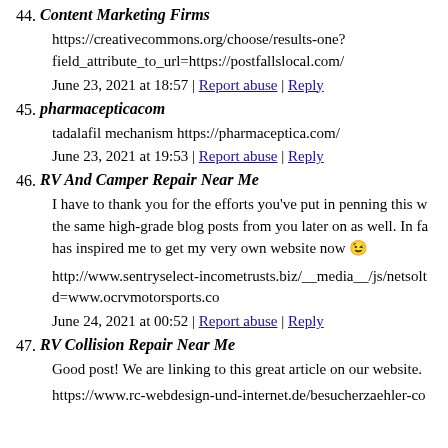44. Content Marketing Firms
https://creativecommons.org/choose/results-one?field_attribute_to_url=https://postfallslocal.com/
June 23, 2021 at 18:57 | Report abuse | Reply
45. pharmacepticacom
tadalafil mechanism https://pharmaceptica.com/
June 23, 2021 at 19:53 | Report abuse | Reply
46. RV And Camper Repair Near Me
I have to thank you for the efforts you've put in penning this w the same high-grade blog posts from you later on as well. In fa has inspired me to get my very own website now 😉
http://www.sentryselect-incometrusts.biz/__media__/js/netsolt d=www.ocrvmotorsports.co
June 24, 2021 at 00:52 | Report abuse | Reply
47. RV Collision Repair Near Me
Good post! We are linking to this great article on our website.
https://www.rc-webdesign-und-internet.de/besucherzaehler-co